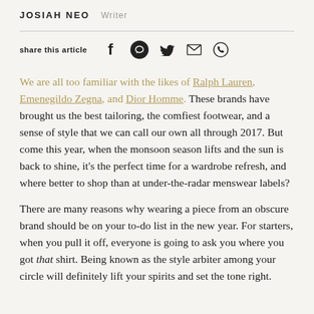JOSIAH NEO   Writer
share this article
We are all too familiar with the likes of Ralph Lauren, Emenegildo Zegna, and Dior Homme. These brands have brought us the best tailoring, the comfiest footwear, and a sense of style that we can call our own all through 2017. But come this year, when the monsoon season lifts and the sun is back to shine, it's the perfect time for a wardrobe refresh, and where better to shop than at under-the-radar menswear labels?
There are many reasons why wearing a piece from an obscure brand should be on your to-do list in the new year. For starters, when you pull it off, everyone is going to ask you where you got that shirt. Being known as the style arbiter among your circle will definitely lift your spirits and set the tone right.